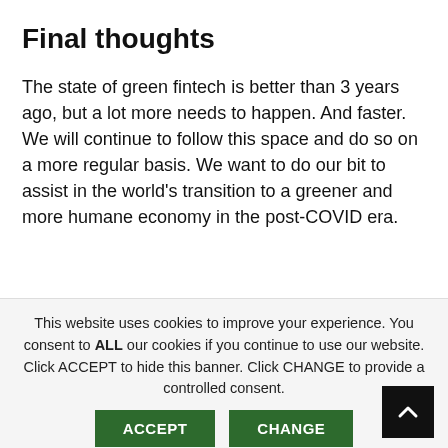Final thoughts
The state of green fintech is better than 3 years ago, but a lot more needs to happen. And faster. We will continue to follow this space and do so on a more regular basis. We want to do our bit to assist in the world’s transition to a greener and more humane economy in the post-COVID era.
This website uses cookies to improve your experience. You consent to ALL our cookies if you continue to use our website. Click ACCEPT to hide this banner. Click CHANGE to provide a controlled consent.
Read More